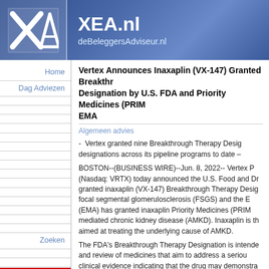[Figure (logo): XEA.nl / deBeleggersAdviseur.nl logo with XA graphic on blue gradient background]
Vertex Announces Inaxaplin (VX-147) Granted Breakthrough Therapy Designation by U.S. FDA and Priority Medicines (PRIME) by EMA
Algemeen advies
- Vertex granted nine Breakthrough Therapy Designations across its pipeline programs to date –
BOSTON--(BUSINESS WIRE)--Jun. 8, 2022-- Vertex Pharmaceuticals (Nasdaq: VRTX) today announced the U.S. Food and Drug Administration granted inaxaplin (VX-147) Breakthrough Therapy Designation for focal segmental glomerulosclerosis (FSGS) and the European Medicines Agency (EMA) has granted inaxaplin Priority Medicines (PRIME) for APOL1-mediated chronic kidney disease (AMKD). Inaxaplin is the first investigational drug aimed at treating the underlying cause of AMKD.
The FDA's Breakthrough Therapy Designation is intended to expedite development and review of medicines that aim to address a serious condition, based on clinical evidence indicating that the drug may demonstrate substantial improvement over existing treatments on one or more clinically significant endpoints. The Breakthrough Therapy Designation was granted based on clinical data from a study of inaxaplin in patients with APOL1-mediated FSGS, a form of
Home
Dag Adviezen
Zoeken